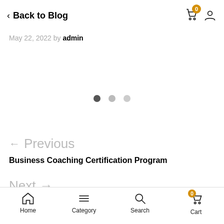< Back to Blog
May 22, 2022 by admin
[Figure (other): Slideshow pagination dots: one dark dot and two lighter dots indicating slide position]
← Previous
Business Coaching Certification Program
Next →
Home  Category  Search  Cart